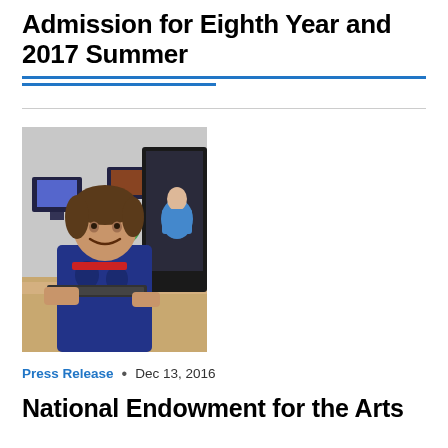Admission for Eighth Year and 2017 Summer
[Figure (photo): A smiling young student in a blue graphic t-shirt sitting at a computer workstation in a computer lab classroom, with other students visible in the background.]
Press Release  •  Dec 13, 2016
National Endowment for the Arts